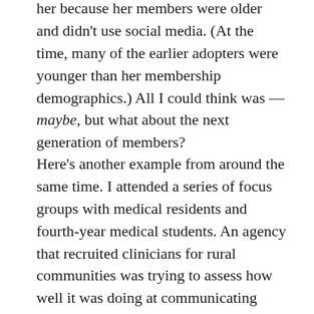her because her members were older and didn't use social media. (At the time, many of the earlier adopters were younger than her membership demographics.) All I could think was — maybe, but what about the next generation of members?
Here's another example from around the same time. I attended a series of focus groups with medical residents and fourth-year medical students. An agency that recruited clinicians for rural communities was trying to assess how well it was doing at communicating with its target audience. The moderator kept asking questions about phone